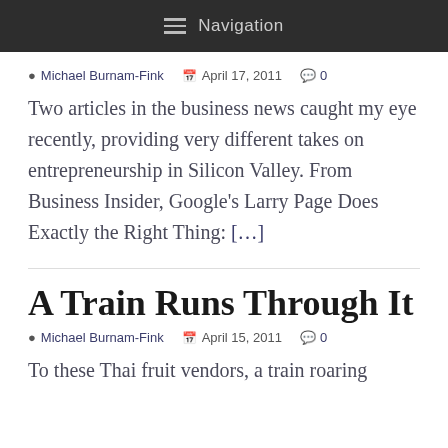Navigation
Michael Burnam-Fink  April 17, 2011  0
Two articles in the business news caught my eye recently, providing very different takes on entrepreneurship in Silicon Valley. From Business Insider, Google’s Larry Page Does Exactly the Right Thing: […]
A Train Runs Through It
Michael Burnam-Fink  April 15, 2011  0
To these Thai fruit vendors, a train roaring